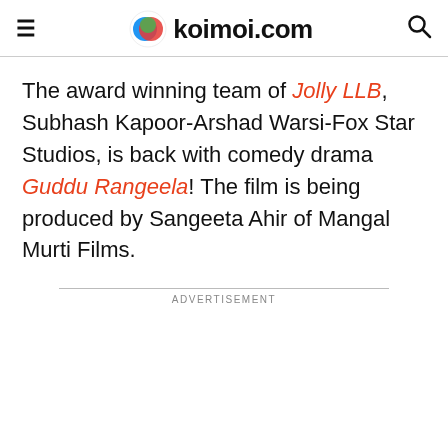koimoi.com
The award winning team of Jolly LLB, Subhash Kapoor-Arshad Warsi-Fox Star Studios, is back with comedy drama Guddu Rangeela! The film is being produced by Sangeeta Ahir of Mangal Murti Films.
[Figure (other): ADVERTISEMENT placeholder space]
[Figure (other): PIA VPN advertisement banner: PIA™ VPN Official Site — World's Most Trusted VPN]